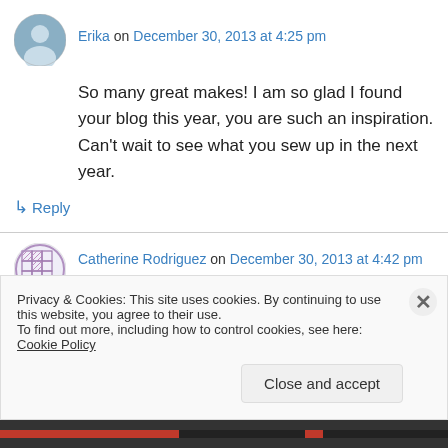[Figure (photo): Circular avatar of Erika showing a person in blue/teal tones]
Erika on December 30, 2013 at 4:25 pm
So many great makes! I am so glad I found your blog this year, you are such an inspiration. Can't wait to see what you sew up in the next year.
↳ Reply
[Figure (illustration): Circular avatar of Catherine Rodriguez showing a decorative grid/quilt pattern in pink/purple]
Catherine Rodriguez on December 30, 2013 at 4:42 pm
I think that you teaching classes sounds like an
Privacy & Cookies: This site uses cookies. By continuing to use this website, you agree to their use.
To find out more, including how to control cookies, see here: Cookie Policy
Close and accept